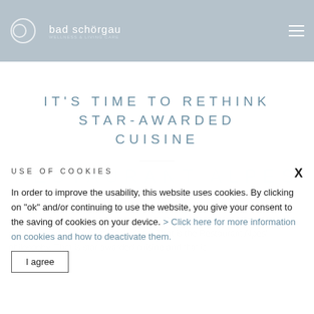bad schörgau
IT'S TIME TO RETHINK STAR-AWARDED CUISINE
USE OF COOKIES
In order to improve the usability, this website uses cookies. By clicking on "ok" and/or continuing to use the website, you give your consent to the saving of cookies on your device. > Click here for more information on cookies and how to deactivate them.
I agree